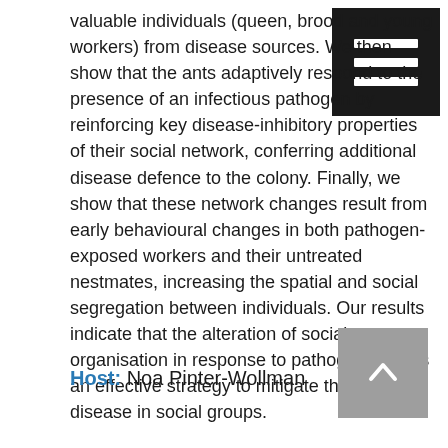valuable individuals (queen, brood and young workers) from disease sources. We then show that the ants adaptively respond to the presence of an infectious pathogen by reinforcing key disease-inhibitory properties of their social network, conferring additional disease defence to the colony. Finally, we show that these network changes result from early behavioural changes in both pathogen-exposed workers and their untreated nestmates, increasing the spatial and social segregation between individuals. Our results indicate that the alteration of social organisation in response to pathogen entry is an effective strategy to mitigate the effects of disease in social groups.
Host: Noa Pinter-Wollman